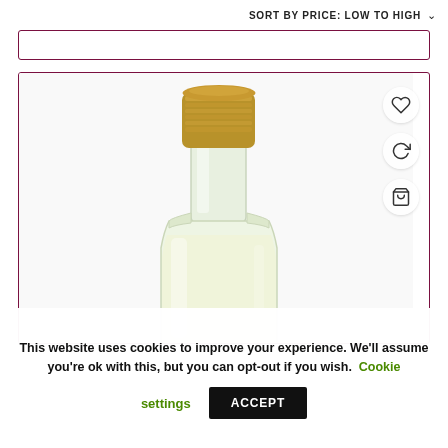SORT BY PRICE: LOW TO HIGH ▾
[Figure (photo): A small glass bottle with a gold screw cap containing a pale yellow liquid, shown from above the shoulder level, partially cut off at the bottom.]
This website uses cookies to improve your experience. We'll assume you're ok with this, but you can opt-out if you wish. Cookie settings ACCEPT